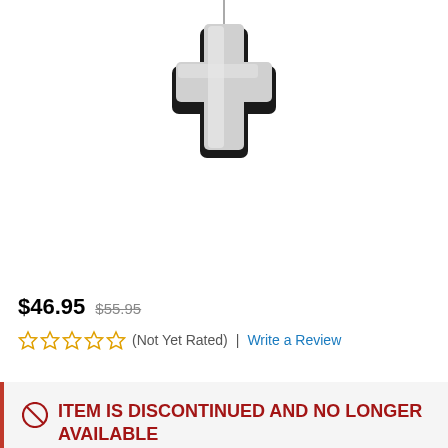[Figure (photo): A silver and black cross pendant necklace on a white background]
$46.95  $55.95
☆☆☆☆☆ (Not Yet Rated) | Write a Review
ITEM IS DISCONTINUED AND NO LONGER AVAILABLE